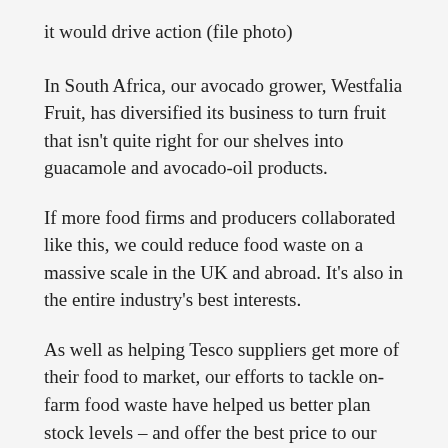it would drive action (file photo)
In South Africa, our avocado grower, Westfalia Fruit, has diversified its business to turn fruit that isn't quite right for our shelves into guacamole and avocado-oil products.
If more food firms and producers collaborated like this, we could reduce food waste on a massive scale in the UK and abroad. It's also in the entire industry's best interests.
As well as helping Tesco suppliers get more of their food to market, our efforts to tackle on-farm food waste have helped us better plan stock levels – and offer the best price to our customers. For example, by broadening the size and shape guidelines of the produce we buy, we can purchase the whole crop from our growers. When growers have a bumper harvest, we simply sell 'wonky'